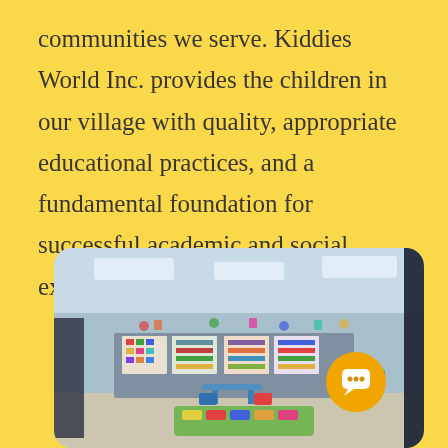communities we serve. Kiddies World Inc. provides the children in our village with quality, appropriate educational practices, and a fundamental foundation for successful academic and social experiences.
[Figure (photo): Interior photo of a children's classroom with blue walls, colorful educational posters and charts on partition boards, small tables and chairs, toys and play structures, and a colorful floor mat. Ceiling has recessed fluorescent lights.]